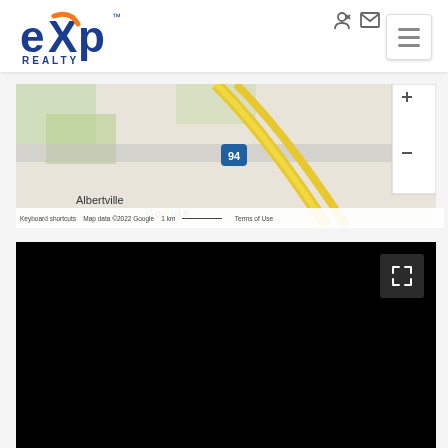[Figure (logo): eXp Realty logo with blue 'exp' text and orange X accent]
[Figure (map): Google Maps view showing Albertville area with Interstate 94, roads, and surrounding land. Map data ©2022 Google. Shows 1 km scale bar.]
Keyboard shortcuts   Map data ©2022 Google   1 km   Terms of Use
[Figure (other): Black video player area with fullscreen button in top right corner]